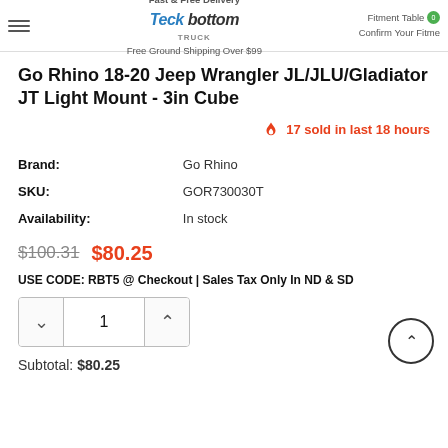Fast & Free Delivery · Free Ground Shipping Over $99 | Teck Bottom Truck | Fitment Table · Confirm Your Fitme
Go Rhino 18-20 Jeep Wrangler JL/JLU/Gladiator JT Light Mount - 3in Cube
17 sold in last 18 hours
| Field | Value |
| --- | --- |
| Brand: | Go Rhino |
| SKU: | GOR730030T |
| Availability: | In stock |
$100.31  $80.25
USE CODE: RBT5 @ Checkout | Sales Tax Only In ND & SD
1
Subtotal: $80.25